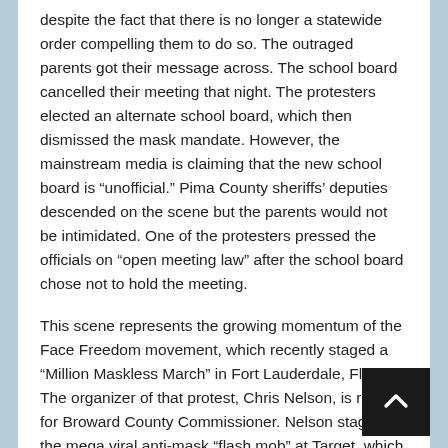despite the fact that there is no longer a statewide order compelling them to do so. The outraged parents got their message across. The school board cancelled their meeting that night. The protesters elected an alternate school board, which then dismissed the mask mandate. However, the mainstream media is claiming that the new school board is "unofficial." Pima County sheriffs' deputies descended on the scene but the parents would not be intimidated. One of the protesters pressed the officials on "open meeting law" after the school board chose not to hold the meeting.
This scene represents the growing momentum of the Face Freedom movement, which recently staged a "Million Maskless March" in Fort Lauderdale, Florida. The organizer of that protest, Chris Nelson, is running for Broward County Commissioner. Nelson staged the mega viral anti-mask "flash mob" at Target, which gave new life